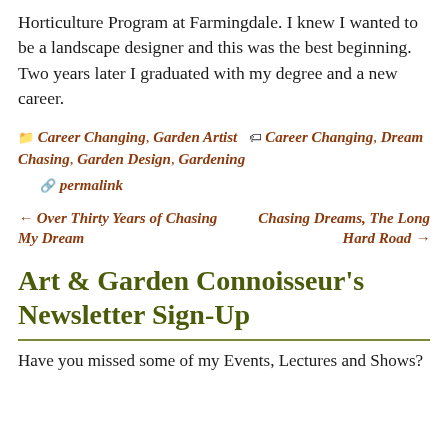Horticulture Program at Farmingdale. I knew I wanted to be a landscape designer and this was the best beginning. Two years later I graduated with my degree and a new career.
📁 Career Changing, Garden Artist  🏷 Career Changing, Dream Chasing, Garden Design, Gardening
🔗 permalink
← Over Thirty Years of Chasing My Dream    Chasing Dreams, The Long Hard Road →
Art & Garden Connoisseur's Newsletter Sign-Up
Have you missed some of my Events, Lectures and Shows?